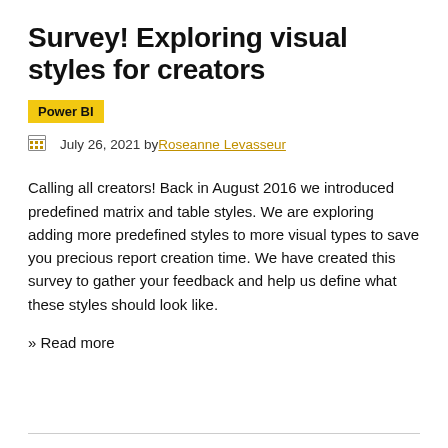Survey! Exploring visual styles for creators
Power BI
July 26, 2021 by Roseanne Levasseur
Calling all creators! Back in August 2016 we introduced predefined matrix and table styles. We are exploring adding more predefined styles to more visual types to save you precious report creation time. We have created this survey to gather your feedback and help us define what these styles should look like.
» Read more